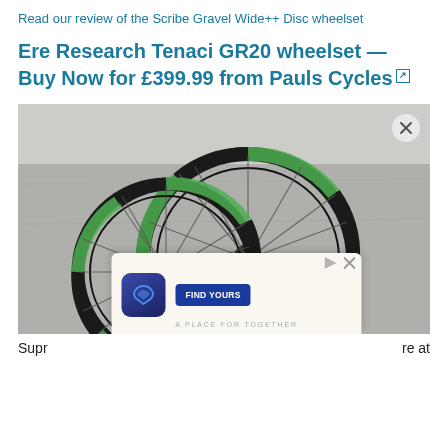Read our review of the Scribe Gravel Wide++ Disc wheelset
Ere Research Tenaci GR20 wheelset — Buy Now for £399.99 from Pauls Cycles
[Figure (photo): Two black bicycle wheels with green accent markings leaning against each other on a grey tarmac surface, with an advertisement overlay popup at the bottom showing a dating app]
Supr... ...re at